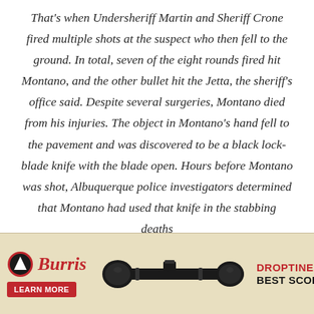That's when Undersheriff Martin and Sheriff Crone fired multiple shots at the suspect who then fell to the ground. In total, seven of the eight rounds fired hit Montano, and the other bullet hit the Jetta, the sheriff's office said. Despite several surgeries, Montano died from his injuries. The object in Montano's hand fell to the pavement and was discovered to be a black lock-blade knife with the blade open. Hours before Montano was shot, Albuquerque police investigators determined that Montano had used that knife in the stabbing deaths [of] her 17-
[Figure (infographic): Advertisement for Burris Droptine Riflescope. Shows Burris logo (mountain/triangle icon in black circle with red border), Burris brand name in red italic script, a rifle scope image in the center, red 'LEARN MORE' button, headline 'DROPTINE RIFLESCOPE' in red, and subheadline 'BEST SCOPE UNDER $150' in black bold text. Background is a tan/parchment map texture.]